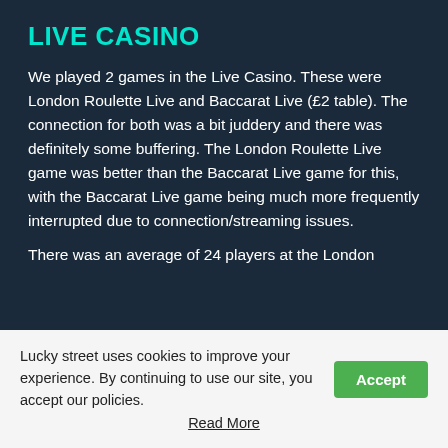LIVE CASINO
We played 2 games in the Live Casino. These were London Roulette Live and Baccarat Live (£2 table). The connection for both was a bit juddery and there was definitely some buffering. The London Roulette Live game was better than the Baccarat Live game for this, with the Baccarat Live game being much more frequently interrupted due to connection/streaming issues.
There was an average of 24 players at the London
Lucky street uses cookies to improve your experience. By continuing to use our site, you accept our policies.
Read More